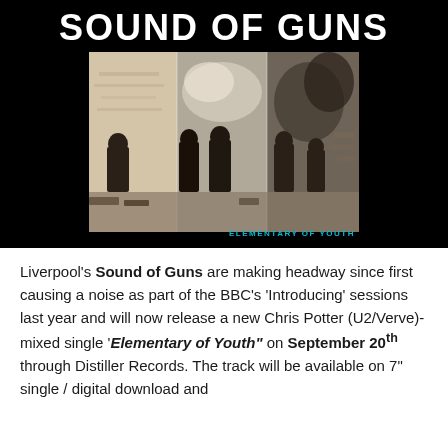[Figure (photo): Album cover for 'Elementary of Youth' by Sound of Guns. Black background with large white bold text 'SOUND OF GUNS' at top. Below is a sepia/vintage photo collage of band members in an urban alley setting. Text 'ELEMENTARY OF YOUTH' in cyan letters at bottom right of the photo.]
Liverpool's Sound of Guns are making headway since first causing a noise as part of the BBC's 'Introducing' sessions last year and will now release a new Chris Potter (U2/Verve)-mixed single 'Elementary of Youth' on September 20th through Distiller Records. The track will be available on 7" single / digital download and